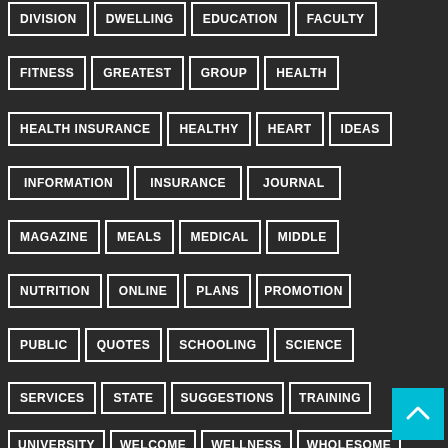[Figure (infographic): Tag cloud / keyword grid on dark background showing words: DIVISION, DWELLING, EDUCATION, FACULTY, FITNESS, GREATEST, GROUP, HEALTH, HEALTH INSURANCE, HEALTHY, HEART, IDEAS, INFORMATION, INSURANCE, JOURNAL, MAGAZINE, MEALS, MEDICAL, MIDDLE, NUTRITION, ONLINE, PLANS, PROMOTION, PUBLIC, QUOTES, SCHOOLING, SCIENCE, SERVICES, STATE, SUGGESTIONS, TRAINING, UNIVERSITY, WELCOME, WELLNESS, WHOLESOME. Each word is in a white-bordered rectangle with bold white text on dark background. A cyan scroll-to-top button appears in the bottom-right corner.]